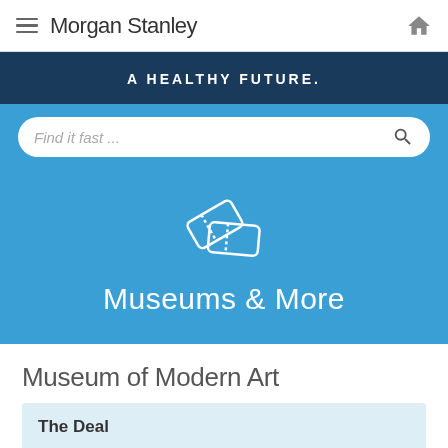Morgan Stanley
A HEALTHY FUTURE.
Find it fast ...
[Figure (screenshot): Blue hero section with ticket icon and text 'Museums & More']
Museum of Modern Art
The Deal